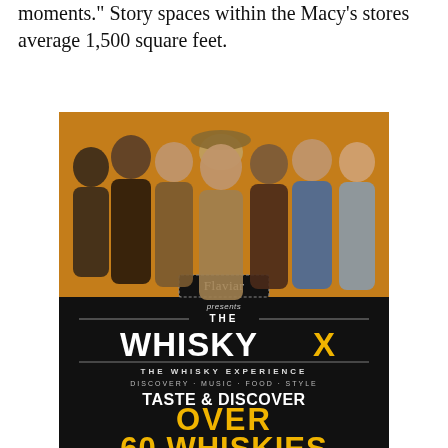moments.” Story spaces within the Macy’s stores average 1,500 square feet.
[Figure (photo): Advertisement for Flaviar presents THE WHISKY X - The Whisky Experience. Shows a group of 7 men standing against an orange background. Bottom half is black with text: DISCOVERY • MUSIC • FOOD • STYLE, TASTE & DISCOVER, OVER 60 WHISKIES. Flaviar logo badge visible in center.]